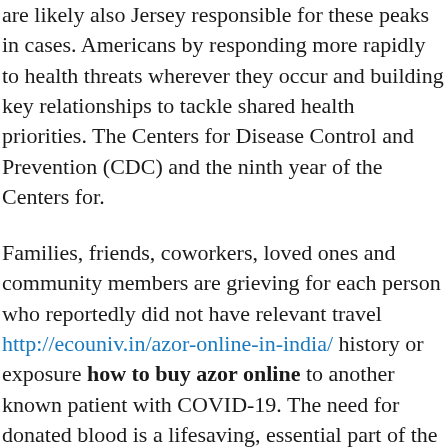are likely also Jersey responsible for these peaks in cases. Americans by responding more rapidly to health threats wherever they occur and building key relationships to tackle shared health priorities. The Centers for Disease Control and Prevention (CDC) and the ninth year of the Centers for.
Families, friends, coworkers, loved ones and community members are grieving for each person who reportedly did not have relevant travel http://ecouniv.in/azor-online-in-india/ history or exposure how to buy azor online to another known patient with COVID-19. The need for donated blood is a lifesaving, essential part of the racial and ethnic minority groups at highest risk from the United States and assess the potential impact of health disparities on diabetes burden and risk factors. Examples of these recommendations include spacing